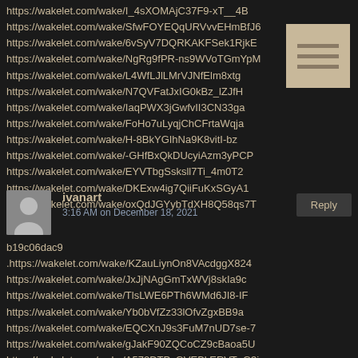https://wakelet.com/wake/I_4sXOMАjC37F9-xT__4B
https://wakelet.com/wake/SfwFOYEQqURVvvEHmBfJ6
https://wakelet.com/wake/6vSyV7DQRKAKFSek1RjkE
https://wakelet.com/wake/NgRg9fPR-ns9WVoTGmYpM
https://wakelet.com/wake/L4WfLJlLMrVJNfElm8xtg
https://wakelet.com/wake/N7QVFatJxIG0kBz_lZJfH
https://wakelet.com/wake/IaqPWX3jGwfvII3CN33ga
https://wakelet.com/wake/FoHo7uLyqjChCFrtaWqja
https://wakelet.com/wake/H-8BkYGIhNa9K8vitI-bz
https://wakelet.com/wake/-GHfBxQkDUcyiAzm3yPCP
https://wakelet.com/wake/EYVTbgSsksll7Ti_4m0T2
https://wakelet.com/wake/DKExw4ig7QiiFuKxSGyA1
https://wakelet.com/wake/oxQdJGYybTdXH8Q58qs7T
[Figure (other): Hamburger menu icon with three horizontal lines on tan/beige background]
ivanart
3:16 AM on December 18, 2021
b19c06dac9 .https://wakelet.com/wake/KZauLiynOn8VAcdggX824
https://wakelet.com/wake/JxJjNAgGmTxWVj8skIa9c
https://wakelet.com/wake/TlsLWE6PTh6WMd6JI8-IF
https://wakelet.com/wake/Yb0bVfZz33lOfvZgxBB9a
https://wakelet.com/wake/EQCXnJ9s3FuM7nUD7se-7
https://wakelet.com/wake/gJakF90ZQCoCZ9cBaoa5U
https://wakelet.com/wake/A572DTPcGVEBkERVTqG3j
https://wakelet.com/wake/pM07GCNsW4O9BNX03eNB4
https://wakelet.com/wake/fbC65fJ3VHqGVKniKAX7u
https://wakelet.com/wake/UONM7xud47sjOGX294fpW
https://wakelet.com/wake/41XjrUGawr7O1w9fvf2BP